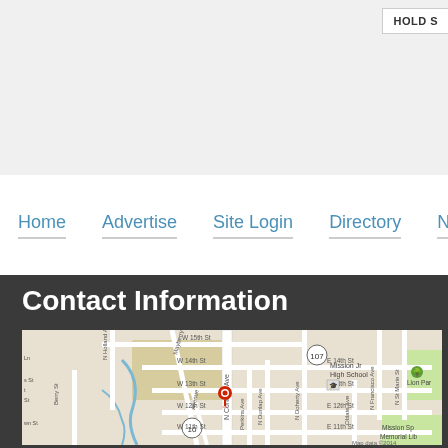HOLD S
Home  Advertise  Site Login  Directory  Newsletter
Contact Information
[Figure (map): Google Map showing N Conway Ave area with streets including W 15th St, W 14th St, W 13th St, W 12th St, W 11th St, E 14th St, E 13th St, E 12th St, E 11th St, N Doherty Ave, Oblate Ave, N Francisco Ave, N St Marie St, Mayberry Loop, N Dunlap Ave, Perkins Ave, Berry St, N Holland Ave. Shows Mission Jr High School, Lion Park, Mission Sp, Memorial Library. Map data ©2014. Red location pin on N Conway Ave near W 13th St.]